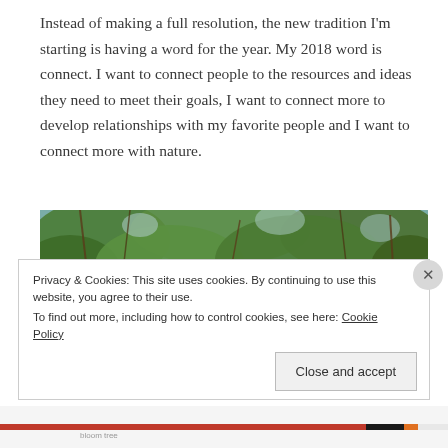Instead of making a full resolution, the new tradition I'm starting is having a word for the year. My 2018 word is connect. I want to connect people to the resources and ideas they need to meet their goals, I want to connect more to develop relationships with my favorite people and I want to connect more with nature.
[Figure (photo): Outdoor nature photo showing dense green foliage, tree branches, and leaves — a forest or bush scene viewed from below or at eye level.]
Privacy & Cookies: This site uses cookies. By continuing to use this website, you agree to their use.
To find out more, including how to control cookies, see here: Cookie Policy